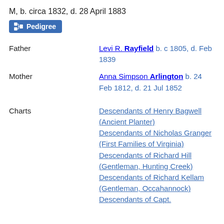M, b. circa 1832, d. 28 April 1883
Pedigree
Father
Levi R. Rayfield b. c 1805, d. Feb 1839
Mother
Anna Simpson Arlington b. 24 Feb 1812, d. 21 Jul 1852
Charts
Descendants of Henry Bagwell (Ancient Planter)
Descendants of Nicholas Granger (First Families of Virginia)
Descendants of Richard Hill (Gentleman, Hunting Creek)
Descendants of Richard Kellam (Gentleman, Occahannock)
Descendants of Capt.